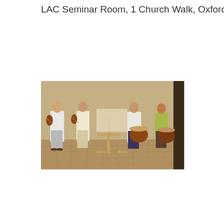LAC Seminar Room, 1 Church Walk, Oxford
[Figure (photo): Four musicians standing in a stone-floored room. Two men on the left play violins, while two men on the right hold large round drums. A wooden music stand cross-shaped structure is in the center foreground.]